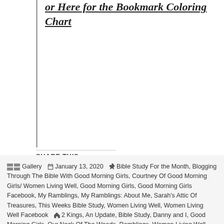or Here for the Bookmark Coloring Chart
SHARE THIS
[Figure (infographic): Six circular social share buttons: Twitter (blue), Facebook (blue), Pinterest (red), Email (gray), Pocket (red/pink), Print (gray)]
Gallery  January 13, 2020  Bible Study For the Month, Blogging Through The Bible With Good Morning Girls, Courtney Of Good Morning Girls/ Women Living Well, Good Morning Girls, Good Morning Girls Facebook, My Ramblings, My Ramblings: About Me, Sarah's Attic Of Treasures, This Weeks Bible Study, Women Living Well, Women Living Well Facebook  2 Kings, An Update, Bible Study, Danny and I, Good Morning Girls, Our Neck Of The Woods, Ramblings, Women Living Well, Womenlivingwell.org  5 Comments